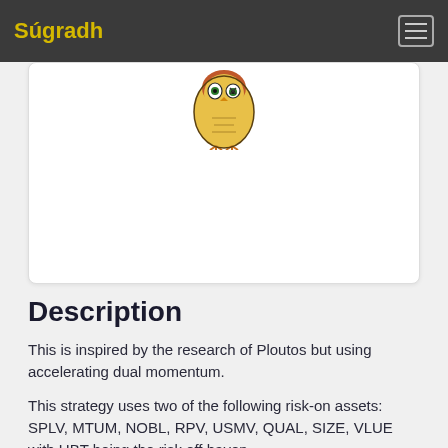Súgradh
[Figure (illustration): Cartoon owl illustration — orange, yellow and green owl mascot logo centered on a white card]
Description
This is inspired by the research of Ploutos but using accelerating dual momentum.
This strategy uses two of the following risk-on assets: SPLV, MTUM, NOBL, RPV, USMV, QUAL, SIZE, VLUE with UBT being the risk off haven.
It will buy only two risk on assets at a time.